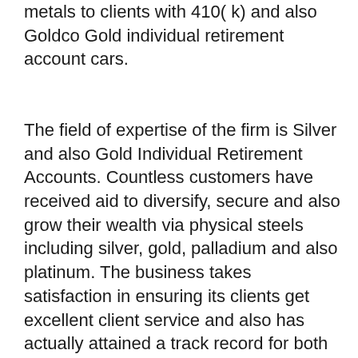metals to clients with 410( k) and also Goldco Gold individual retirement account cars.
The field of expertise of the firm is Silver and also Gold Individual Retirement Accounts. Countless customers have received aid to diversify, secure and also grow their wealth via physical steels including silver, gold, palladium and also platinum. The business takes satisfaction in ensuring its clients get excellent client service and also has actually attained a track record for both remarkable educational resources and also extremely high-quality service. Investors intriguing in hands-off diversification are superb candidates for a Silver or Gold IRA.